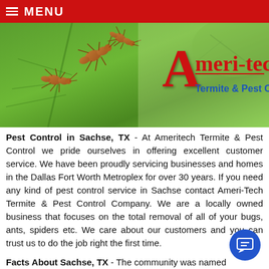MENU
[Figure (photo): Banner image showing fire ants on a green leaf with Ameri-tech Termite & Pest Control logo overlay on green background]
Pest Control in Sachse, TX - At Ameritech Termite & Pest Control we pride ourselves in offering excellent customer service. We have been proudly servicing businesses and homes in the Dallas Fort Worth Metroplex for over 30 years. If you need any kind of pest control service in Sachse contact Ameri-Tech Termite & Pest Control Company. We are a locally owned business that focuses on the total removal of all of your bugs, ants, spiders etc. We care about our customers and you can trust us to do the job right the first time.
Facts About Sachse, TX - The community was named